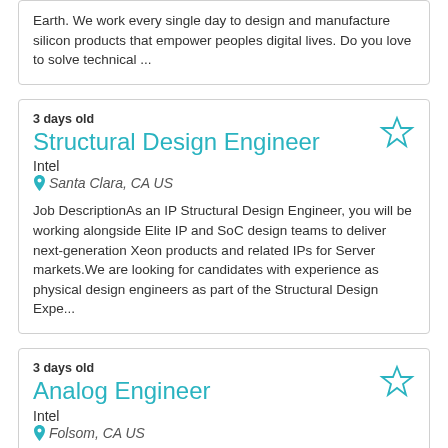Earth. We work every single day to design and manufacture silicon products that empower peoples digital lives. Do you love to solve technical ...
3 days old
Structural Design Engineer
Intel
Santa Clara, CA US
Job DescriptionAs an IP Structural Design Engineer, you will be working alongside Elite IP and SoC design teams to deliver next-generation Xeon products and related IPs for Server markets.We are looking for candidates with experience as physical design engineers as part of the Structural Design Expe...
3 days old
Analog Engineer
Intel
Folsom, CA US
Job DescriptionDesigns, develops, modifies and